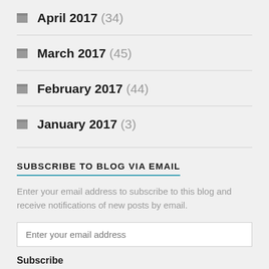April 2017 (34)
March 2017 (45)
February 2017 (44)
January 2017 (3)
SUBSCRIBE TO BLOG VIA EMAIL
Enter your email address to subscribe to this blog and receive notifications of new posts by email.
Enter your email address
Subscribe
Join 303 other followers